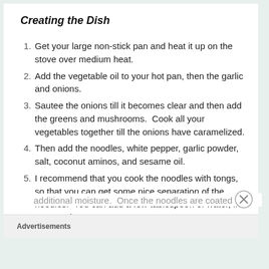Creating the Dish
Get your large non-stick pan and heat it up on the stove over medium heat.
Add the vegetable oil to your hot pan, then the garlic and onions.
Sautee the onions till it becomes clear and then add the greens and mushrooms.  Cook all your vegetables together till the onions have caramelized.
Then add the noodles, white pepper, garlic powder, salt, coconut aminos, and sesame oil.
I recommend that you cook the noodles with tongs, so that you can get some nice separation of the noodles.  You can add a few tablespoon of water, if you need additional moisture.  Once the noodles are coated with
Advertisements